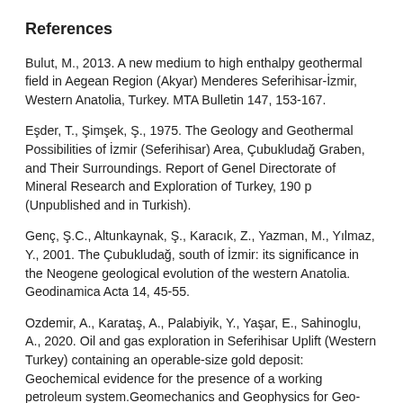References
Bulut, M., 2013. A new medium to high enthalpy geothermal field in Aegean Region (Akyar) Menderes Seferihisar-İzmir, Western Anatolia, Turkey. MTA Bulletin 147, 153-167.
Eşder, T., Şimşek, Ş., 1975. The Geology and Geothermal Possibilities of İzmir (Seferihisar) Area, Çubukludağ Graben, and Their Surroundings. Report of Genel Directorate of Mineral Research and Exploration of Turkey, 190 p (Unpublished and in Turkish).
Genç, Ş.C., Altunkaynak, Ş., Karacık, Z., Yazman, M., Yılmaz, Y., 2001. The Çubukludağ, south of İzmir: its significance in the Neogene geological evolution of the western Anatolia. Geodinamica Acta 14, 45-55.
Ozdemir, A., Karataş, A., Palabiyik, Y., Yaşar, E., Sahinoglu, A., 2020. Oil and gas exploration in Seferihisar Uplift (Western Turkey) containing an operable-size gold deposit: Geochemical evidence for the presence of a working petroleum system.Geomechanics and Geophysics for Geo-Energy and